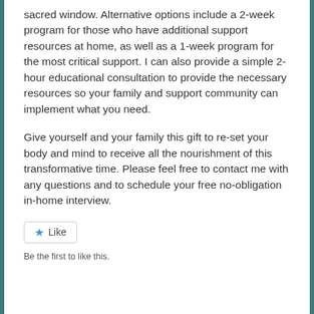sacred window. Alternative options include a 2-week program for those who have additional support resources at home, as well as a 1-week program for the most critical support. I can also provide a simple 2-hour educational consultation to provide the necessary resources so your family and support community can implement what you need.
Give yourself and your family this gift to re-set your body and mind to receive all the nourishment of this transformative time. Please feel free to contact me with any questions and to schedule your free no-obligation in-home interview.
Like
Be the first to like this.